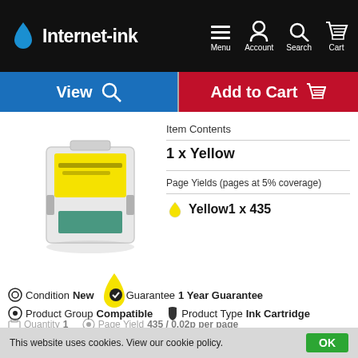Internet-ink — Menu, Account, Search, Cart
View | Add to Cart
[Figure (photo): Yellow ink cartridge product photo on white background]
Item Contents
1 x Yellow
Page Yields (pages at 5% coverage)
Yellow1 x 435
[Figure (illustration): Yellow ink drop illustration]
Condition New   Guarantee 1 Year Guarantee
Product Group Compatible   Product Type Ink Cartridge
Quantity 1   Page Yield 435 / 0.02p per page
This website uses cookies. View our cookie policy. OK